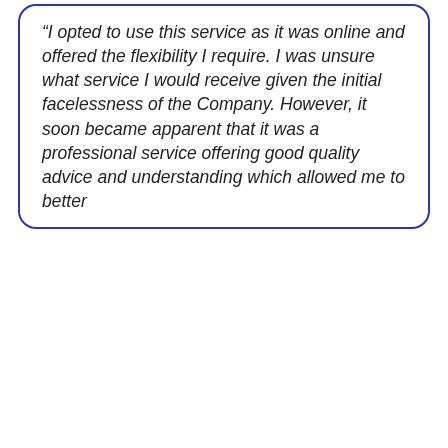“I opted to use this service as it was online and offered the flexibility I require. I was unsure what service I would receive given the initial facelessness of the Company. However, it soon became apparent that it was a professional service offering good quality advice and understanding which allowed me to better
...
"from start to finish very refreshing. Friendly ,efficient, professional and very informative"
“Having contacted various solicitors in the last few weeks I have to say I was pleasantly surprised. I found the whole experience from start to finish very refreshing. Friendly ,efficient, professional and very informative. I wouldn’t hesitate to recommend Cohen Davis to others.”